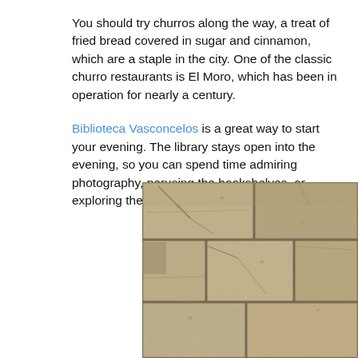You should try churros along the way, a treat of fried bread covered in sugar and cinnamon, which are a staple in the city. One of the classic churro restaurants is El Moro, which has been in operation for nearly a century.
Biblioteca Vasconcelos is a great way to start your evening. The library stays open into the evening, so you can spend time admiring photography, perusing the bookshelves, or exploring the surrounding gardens.
[Figure (photo): Close-up photograph of rough stone or brick wall with visible mortar joints and textured surface in sandy brown/grey tones.]